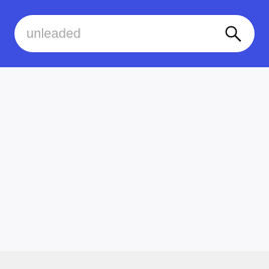[Figure (screenshot): Search interface with a blue header bar containing a white rounded search box with the placeholder text 'unleaded' and a search (magnifying glass) icon on the right. Below the header is a white/light gray content area, mostly empty.]